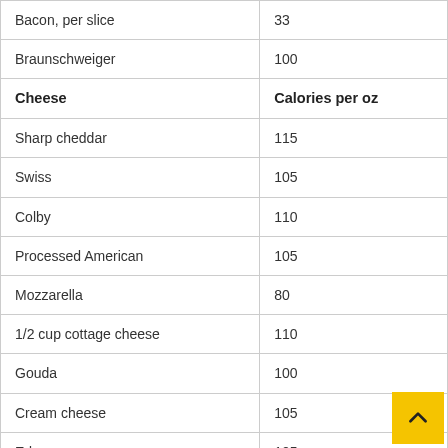| Food | Calories |
| --- | --- |
| Bacon, per slice | 33 |
| Braunschweiger | 100 |
| Cheese | Calories per oz |
| Sharp cheddar | 115 |
| Swiss | 105 |
| Colby | 110 |
| Processed American | 105 |
| Mozzarella | 80 |
| 1/2 cup cottage cheese | 110 |
| Gouda | 100 |
| Cream cheese | 105 |
| Edam | 105 |